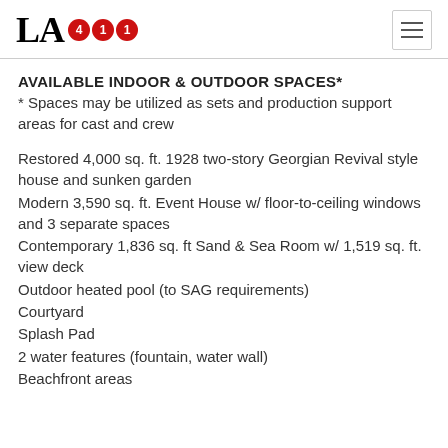LA411
AVAILABLE INDOOR & OUTDOOR SPACES*
* Spaces may be utilized as sets and production support areas for cast and crew
Restored 4,000 sq. ft. 1928 two-story Georgian Revival style house and sunken garden
Modern 3,590 sq. ft. Event House w/ floor-to-ceiling windows and 3 separate spaces
Contemporary 1,836 sq. ft Sand & Sea Room w/ 1,519 sq. ft. view deck
Outdoor heated pool (to SAG requirements)
Courtyard
Splash Pad
2 water features (fountain, water wall)
Beachfront areas